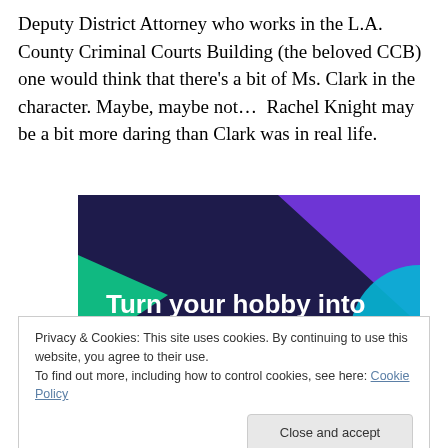Deputy District Attorney who works in the L.A. County Criminal Courts Building (the beloved CCB) one would think that there's a bit of Ms. Clark in the character. Maybe, maybe not…  Rachel Knight may be a bit more daring than Clark was in real life.
[Figure (illustration): Advertisement banner with dark navy/purple geometric shapes and text 'Turn your hobby into a business in 8 steps' in white bold font, with teal/cyan and purple accent shapes.]
Privacy & Cookies: This site uses cookies. By continuing to use this website, you agree to their use.
To find out more, including how to control cookies, see here: Cookie Policy
Close and accept